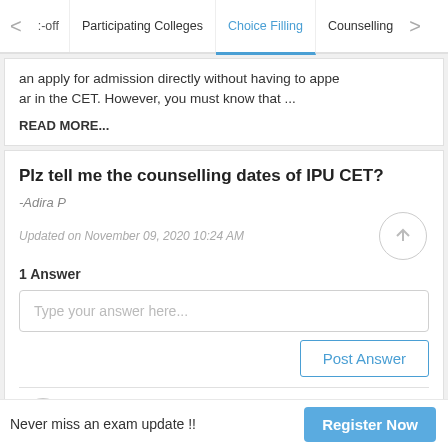< :-off  Participating Colleges  Choice Filling  Counselling >
an apply for admission directly without having to appear in the CET. However, you must know that ...
READ MORE...
Plz tell me the counselling dates of IPU CET?
-Adira P
Updated on November 09, 2020 10:24 AM
1 Answer
Type your answer here...
Post Answer
Rahul Raj, Student / Alumni
Never miss an exam update !!  Register Now